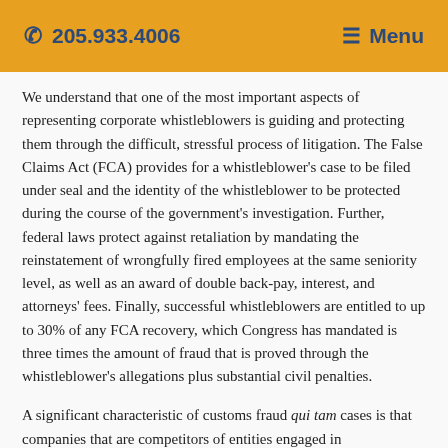205.933.4006   ☰ Menu
We understand that one of the most important aspects of representing corporate whistleblowers is guiding and protecting them through the difficult, stressful process of litigation. The False Claims Act (FCA) provides for a whistleblower's case to be filed under seal and the identity of the whistleblower to be protected during the course of the government's investigation. Further, federal laws protect against retaliation by mandating the reinstatement of wrongfully fired employees at the same seniority level, as well as an award of double back-pay, interest, and attorneys' fees. Finally, successful whistleblowers are entitled to up to 30% of any FCA recovery, which Congress has mandated is three times the amount of fraud that is proved through the whistleblower's allegations plus substantial civil penalties.
A significant characteristic of customs fraud qui tam cases is that companies that are competitors of entities engaged in